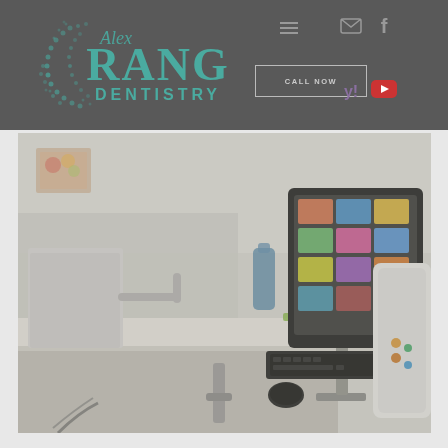[Figure (logo): Alex Rang Dentistry logo with teal crescent/tooth design and stylized text]
[Figure (photo): Dental office interior showing a counter with computer monitor, keyboard, mouse, and dental equipment]